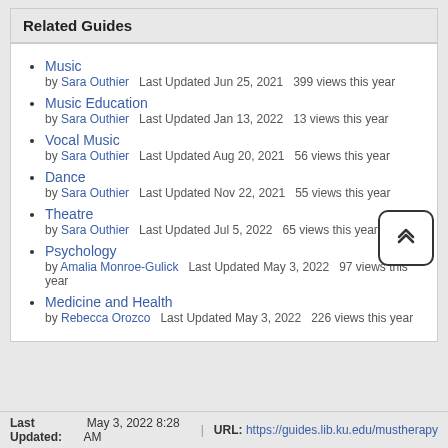Related Guides
Music
by Sara Outhier   Last Updated Jun 25, 2021   399 views this year
Music Education
by Sara Outhier   Last Updated Jan 13, 2022   13 views this year
Vocal Music
by Sara Outhier   Last Updated Aug 20, 2021   56 views this year
Dance
by Sara Outhier   Last Updated Nov 22, 2021   55 views this year
Theatre
by Sara Outhier   Last Updated Jul 5, 2022   65 views this year
Psychology
by Amalia Monroe-Gulick   Last Updated May 3, 2022   97 views this year
Medicine and Health
by Rebecca Orozco   Last Updated May 3, 2022   226 views this year
Last Updated: May 3, 2022 8:28 AM   |   URL: https://guides.lib.ku.edu/mustherapy